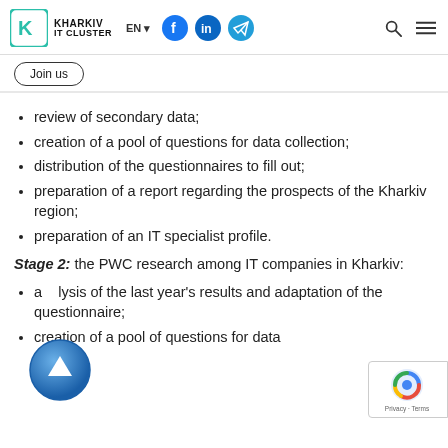KHARKIV IT CLUSTER — EN — [social icons] [search] [menu]
Join us
review of secondary data;
creation of a pool of questions for data collection;
distribution of the questionnaires to fill out;
preparation of a report regarding the prospects of the Kharkiv region;
preparation of an IT specialist profile.
Stage 2: the PWC research among IT companies in Kharkiv:
analysis of the last year's results and adaptation of the questionnaire;
creation of a pool of questions for data